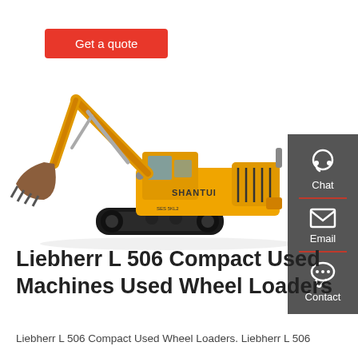Get a quote
[Figure (photo): Yellow Shantui tracked excavator on white background, shown in profile with boom extended to the left and bucket lowered.]
[Figure (infographic): Dark gray sidebar with Chat (headset icon), Email (envelope icon), and Contact (speech bubble icon) buttons, separated by red dividers.]
Liebherr L 506 Compact Used Machines Used Wheel Loaders
Liebherr L 506 Compact Used Wheel Loaders. Liebherr L 506